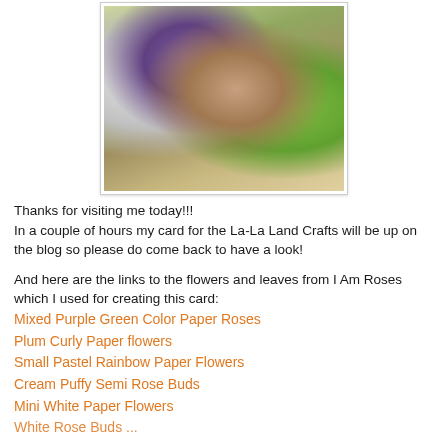[Figure (photo): A handmade greeting card featuring a cartoon girl character in a green dress with purple and green paper roses, decorative elements, and a 'WISH' tag, displayed against a white background.]
Thanks for visiting me today!!!
In a couple of hours my card for the La-La Land Crafts will be up on the blog so please do come back to have a look!
And here are the links to the flowers and leaves from I Am Roses which I used for creating this card:
Mixed Purple Green Color Paper Roses
Plum Curly Paper flowers
Small Pastel Rainbow Paper Flowers
Cream Puffy Semi Rose Buds
Mini White Paper Flowers
White Rose Buds (partially visible)